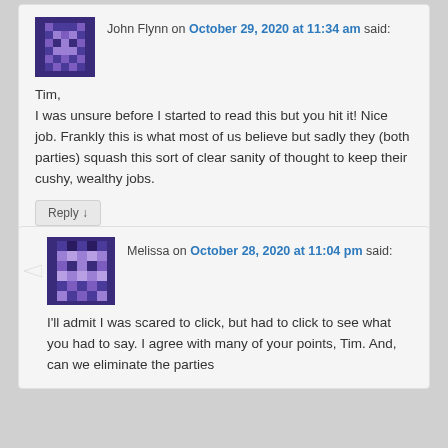[Figure (illustration): Pixel art avatar icon for John Flynn, purple/dark blue colors]
John Flynn on October 29, 2020 at 11:34 am said:
Tim,
I was unsure before I started to read this but you hit it! Nice job. Frankly this is what most of us believe but sadly they (both parties) squash this sort of clear sanity of thought to keep their cushy, wealthy jobs.
Reply ↓
[Figure (illustration): Pixel art avatar icon for Melissa, purple/dark blue colors]
Melissa on October 28, 2020 at 11:04 pm said:
I'll admit I was scared to click, but had to click to see what you had to say. I agree with many of your points, Tim. And, can we eliminate the parties